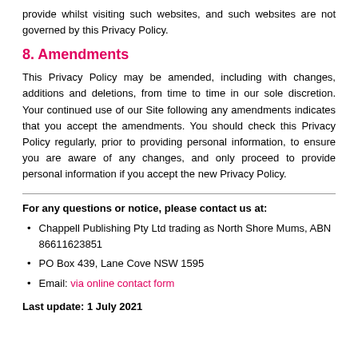provide whilst visiting such websites, and such websites are not governed by this Privacy Policy.
8. Amendments
This Privacy Policy may be amended, including with changes, additions and deletions, from time to time in our sole discretion. Your continued use of our Site following any amendments indicates that you accept the amendments. You should check this Privacy Policy regularly, prior to providing personal information, to ensure you are aware of any changes, and only proceed to provide personal information if you accept the new Privacy Policy.
For any questions or notice, please contact us at:
Chappell Publishing Pty Ltd trading as North Shore Mums, ABN 86611623851
PO Box 439, Lane Cove NSW 1595
Email: via online contact form
Last update: 1 July 2021